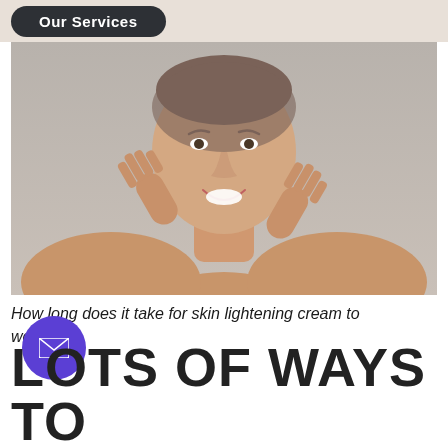Our Services
[Figure (photo): Smiling middle-aged woman with hands raised near her face against a light grey background, skin care context]
How long does it take for skin lightening cream to work? 5
LOTS OF WAYS TO